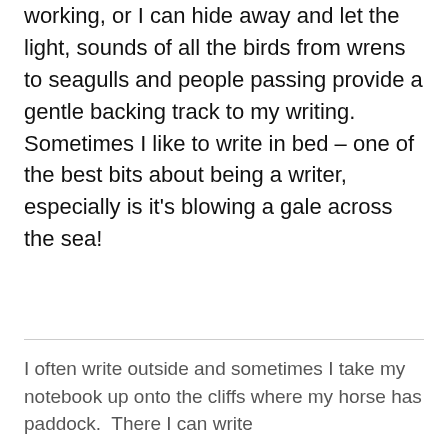working, or I can hide away and let the light, sounds of all the birds from wrens to seagulls and people passing provide a gentle backing track to my writing. Sometimes I like to write in bed – one of the best bits about being a writer, especially is it's blowing a gale across the sea!
I often write outside and sometimes I take my notebook up onto the cliffs where my horse has paddock.  There I can write